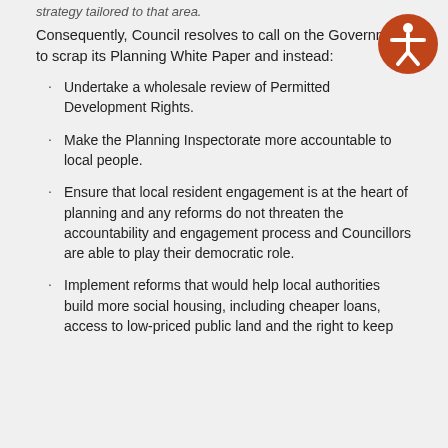strategy tailored to that area.
Consequently, Council resolves to call on the Government to scrap its Planning White Paper and instead:
Undertake a wholesale review of Permitted Development Rights.
Make the Planning Inspectorate more accountable to local people.
Ensure that local resident engagement is at the heart of planning and any reforms do not threaten the accountability and engagement process and Councillors are able to play their democratic role.
Implement reforms that would help local authorities build more social housing, including cheaper loans, access to low-priced public land and the right to keep 100 percent of the proceeds from selling council off...